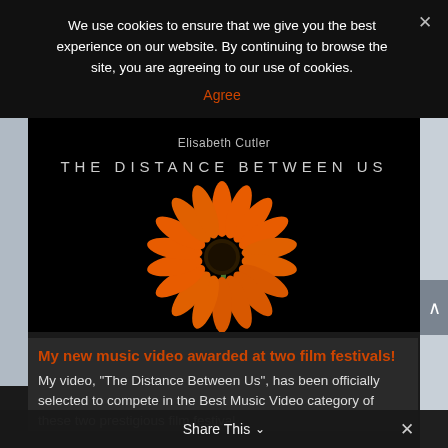We use cookies to ensure that we give you the best experience on our website. By continuing to browse the site, you are agreeing to our use of cookies.
Agree
[Figure (screenshot): Book cover for 'The Distance Between Us' by Elisabeth Cutler, showing an orange gerbera daisy flower on a black background]
My new music video awarded at two film festivals!
My video, "The Distance Between Us", has been officially selected to compete in the Best Music Video category of these two prestigious film festival
Share This